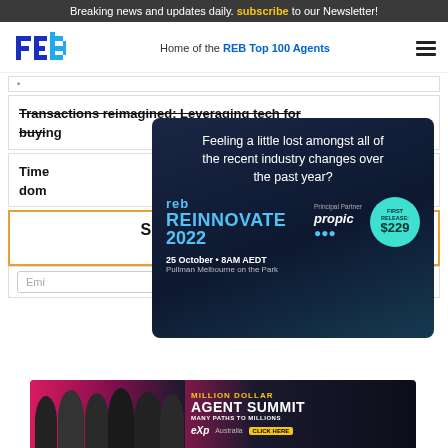Breaking news and updates daily. subscribe to our Newsletter!
reb — Home of the REB Top 100 Agents
Transactions reimagined: Leveraging tech for buyi...
Time... dom...
[Figure (advertisement): REB Reinnovate 2022 event ad. Text: Feeling a little lost amongst all of the recent industry changes over the past year? REB REINNOVATE 2022 — Principal Partner: propic — 25 October • 8AM AEDT, Pullman Melbourne on the Park. First Release: $229]
Subscribe to our RPM mailing list
Email...
[Figure (advertisement): Million Dollar Agent Summit 2022 — Many Paths to Millions — eXp Australia — Click Here. Features group photo of real estate agents.]